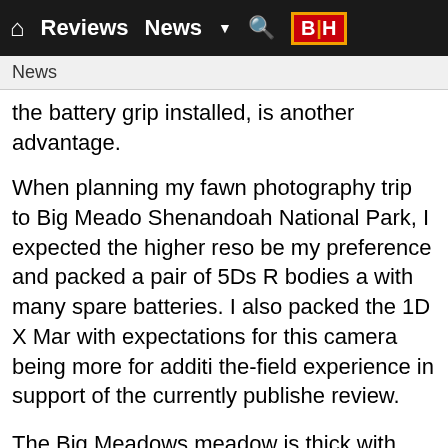Reviews  News  ▼  🔍  B|H
News
the battery grip installed, is another advantage.
When planning my fawn photography trip to Big Meado Shenandoah National Park, I expected the higher reso be my preference and packed a pair of 5Ds R bodies a with many spare batteries. I also packed the 1D X Mar with expectations for this camera being more for additi the-field experience in support of the currently publishe review.
The Big Meadows meadow is thick with vegetation. Th patches of thigh-high briars are found throughout and g covers much of the balance of the meadow area. The g not exceptionally thick, but it sends stems and seed he rather high and there are few openings void of the tall g